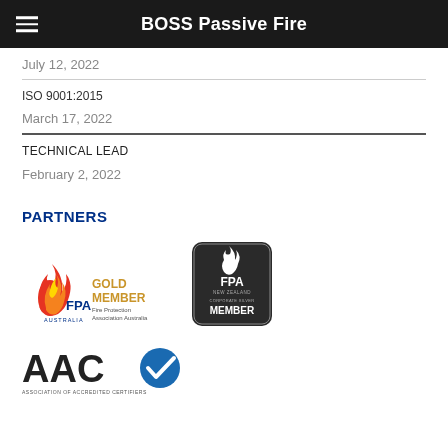BOSS Passive Fire
July 12, 2022
ISO 9001:2015
March 17, 2022
TECHNICAL LEAD
February 2, 2022
PARTNERS
[Figure (logo): FPA Australia Gold Member badge showing fire flame logo with 'FPA AUSTRALIA' text and 'GOLD MEMBER Fire Protection Association Australia' text in gold]
[Figure (logo): FPA New Zealand Corporate Silver Member badge - dark rounded rectangle with FPA flame logo and 'MEMBER' text]
[Figure (logo): AAC - Association of Accredited Certifiers logo with blue checkmark]